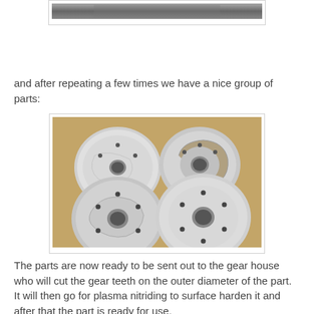[Figure (photo): Top portion of a photo showing machinery or parts, cropped at top of page]
and after repeating a few times we have a nice group of parts:
[Figure (photo): Four circular machined aluminum parts with holes, laid out in a 2x2 arrangement on a beige surface]
The parts are now ready to be sent out to the gear house who will cut the gear teeth on the outer diameter of the part. It will then go for plasma nitriding to surface harden it and after that the part is ready for use.

Tomorrow I'm going to switch back to aluminum and start machining the clutch side cover.